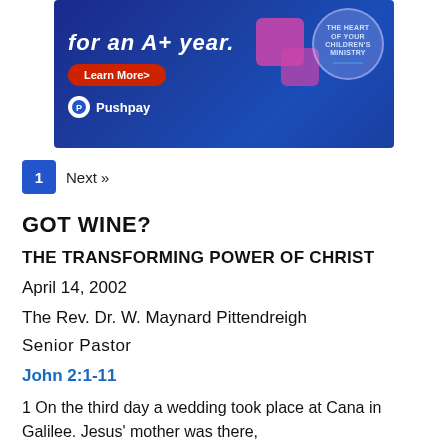[Figure (illustration): Pushpay advertisement banner with blue gradient background, red Learn More button, Pushpay logo, and circular badge mentioning children's ministry]
1  Next »
GOT WINE?
THE TRANSFORMING POWER OF CHRIST
April 14, 2002
The Rev. Dr. W. Maynard Pittendreigh
Senior Pastor
John 2:1-11
1 On the third day a wedding took place at Cana in Galilee. Jesus' mother was there,